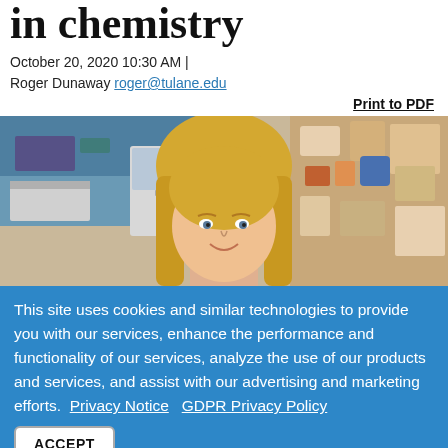in chemistry
October 20, 2020 10:30 AM | Roger Dunaway roger@tulane.edu
Print to PDF
[Figure (photo): A woman with blonde hair smiling in a laboratory setting with shelves and equipment in the background.]
This site uses cookies and similar technologies to provide you with our services, enhance the performance and functionality of our services, analyze the use of our products and services, and assist with our advertising and marketing efforts.  Privacy Notice   GDPR Privacy Policy
ACCEPT